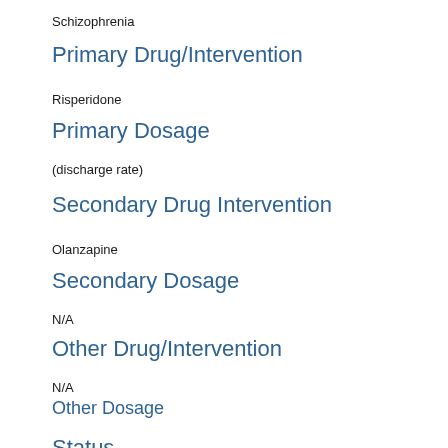Schizophrenia
Primary Drug/Intervention
Risperidone
Primary Dosage
(discharge rate)
Secondary Drug Intervention
Olanzapine
Secondary Dosage
N/A
Other Drug/Intervention
N/A
Other Dosage
N/A
Status